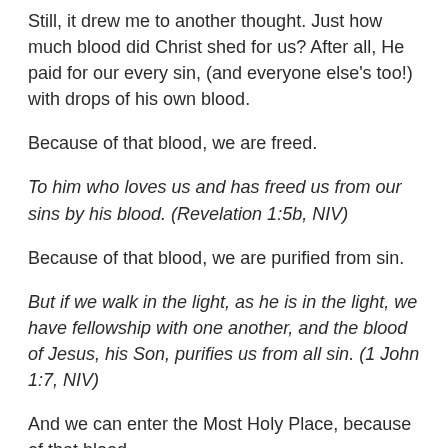Still, it drew me to another thought. Just how much blood did Christ shed for us? After all, He paid for our every sin, (and everyone else's too!) with drops of his own blood.
Because of that blood, we are freed.
To him who loves us and has freed us from our sins by his blood. (Revelation 1:5b, NIV)
Because of that blood, we are purified from sin.
But if we walk in the light, as he is in the light, we have fellowship with one another, and the blood of Jesus, his Son, purifies us from all sin. (1 John 1:7, NIV)
And we can enter the Most Holy Place, because of that blood.